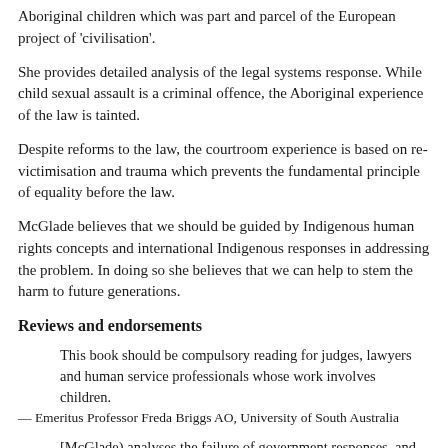Aboriginal children which was part and parcel of the European project of 'civilisation'.
She provides detailed analysis of the legal systems response. While child sexual assault is a criminal offence, the Aboriginal experience of the law is tainted.
Despite reforms to the law, the courtroom experience is based on re-victimisation and trauma which prevents the fundamental principle of equality before the law.
McGlade believes that we should be guided by Indigenous human rights concepts and international Indigenous responses in addressing the problem. In doing so she believes that we can help to stem the harm to future generations.
Reviews and endorsements
This book should be compulsory reading for judges, lawyers and human service professionals whose work involves children.
— Emeritus Professor Freda Briggs AO, University of South Australia
[McGlade) analyses the failure of government responses, and in particular the failure to develop ...which would facilitate Aboriginal...